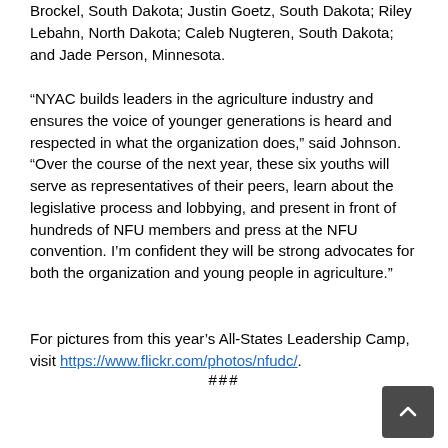Brockel, South Dakota; Justin Goetz, South Dakota; Riley Lebahn, North Dakota; Caleb Nugteren, South Dakota; and Jade Person, Minnesota.
“NYAC builds leaders in the agriculture industry and ensures the voice of younger generations is heard and respected in what the organization does,” said Johnson. “Over the course of the next year, these six youths will serve as representatives of their peers, learn about the legislative process and lobbying, and present in front of hundreds of NFU members and press at the NFU convention. I’m confident they will be strong advocates for both the organization and young people in agriculture.”
For pictures from this year’s All-States Leadership Camp, visit https://www.flickr.com/photos/nfudc/.
###